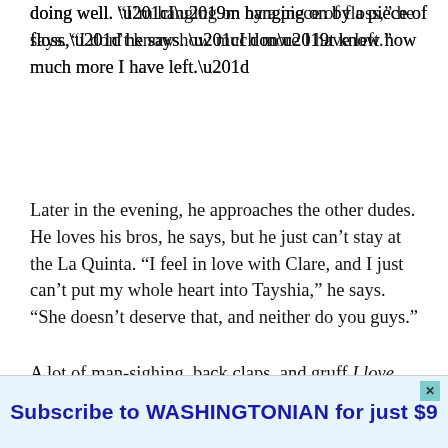doing well. “I’m hanging on by a piece of floss,” he says. “I don’t know how much more I have left.”
Later in the evening, he approaches the other dudes. He loves his bros, he says, but he just can’t stay at the La Quinta. “I feel in love with Clare, and I just can’t put my whole heart into Tayshia,” he says. “She doesn’t deserve that, and neither do you guys.”
A lot of man-sighing, back claps, and gruff I love you, bros abound. Jason heads to see the new
[Figure (other): Advertisement banner: Subscribe to WASHINGTONIAN for just $9, with a close (X) button in the top right corner. Light blue background.]